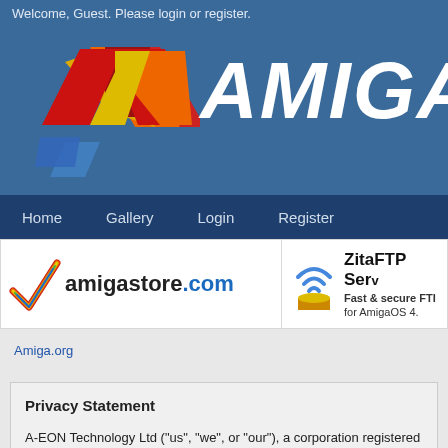Welcome, Guest. Please login or register.
[Figure (logo): Amiga logo with colorful triangular chevron and italic white AMIGA text on blue background]
Home  Gallery  Login  Register
[Figure (screenshot): Two advertisement banners: amigastore.com on the left with rainbow checkmark logo, and ZitaFTP Server on the right with wifi/database icon and text 'Fast & secure FTP for AmigaOS 4.']
Amiga.org
Privacy Statement
A-EON Technology Ltd ("us", "we", or "our"), a corporation registered in En... website www.amiga.org (the "Service").